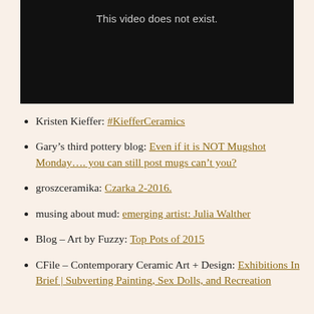[Figure (other): Black video player embed showing 'This video does not exist.' message in gray text on a black background.]
Kristen Kieffer: #KiefferCeramics
Gary’s third pottery blog: Even if it is NOT Mugshot Monday…. you can still post mugs can’t you?
groszceramika: Czarka 2-2016.
musing about mud: emerging artist: Julia Walther
Blog – Art by Fuzzy: Top Pots of 2015
CFile – Contemporary Ceramic Art + Design: Exhibitions In Brief | Subverting Painting, Sex Dolls, and Recreation